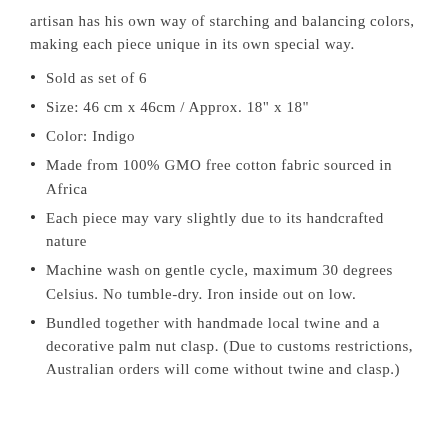artisan has his own way of starching and balancing colors, making each piece unique in its own special way.
Sold as set of 6
Size: 46 cm x 46cm / Approx. 18" x 18"
Color: Indigo
Made from 100% GMO free cotton fabric sourced in Africa
Each piece may vary slightly due to its handcrafted nature
Machine wash on gentle cycle, maximum 30 degrees Celsius. No tumble-dry. Iron inside out on low.
Bundled together with handmade local twine and a decorative palm nut clasp. (Due to customs restrictions, Australian orders will come without twine and clasp.)